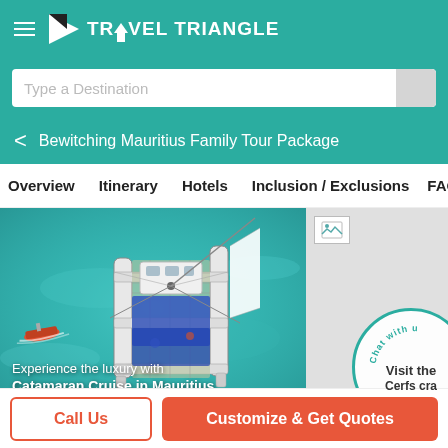TRAVEL TRIANGLE
Type a Destination
Bewitching Mauritius Family Tour Package
Overview   Itinerary   Hotels   Inclusion / Exclusions   FAQ
[Figure (photo): Aerial view of a catamaran sailboat on turquoise water in Mauritius with a smaller motorboat nearby]
Experience the luxury with Catamaran Cruise in Mauritius
Visit the Cerfs cra
Call Us
Customize & Get Quotes